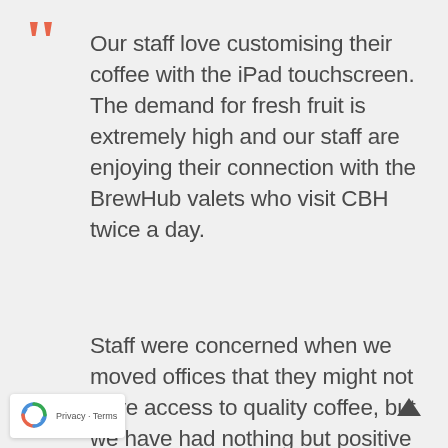[Figure (illustration): Two coral/salmon colored quotation mark characters forming a large open-quote symbol in the top-left corner]
Our staff love customising their coffee with the iPad touchscreen. The demand for fresh fruit is extremely high and our staff are enjoying their connection with the BrewHub valets who visit CBH twice a day.
Staff were concerned when we moved offices that they might not have access to quality coffee, but we have had nothing but positive
[Figure (logo): Google reCAPTCHA badge with recycling-arrow robot icon and Privacy · Terms text]
[Figure (illustration): Upward arrow icon in bottom-right corner for scroll to top]